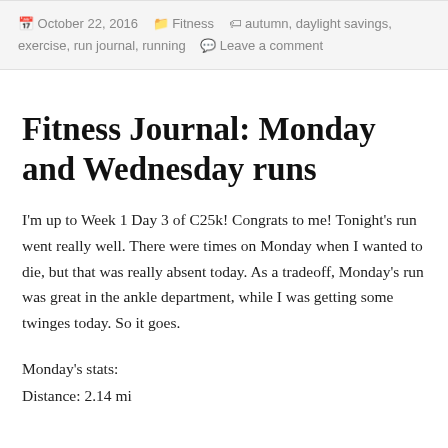October 22, 2016  Fitness  autumn, daylight savings, exercise, run journal, running  Leave a comment
Fitness Journal: Monday and Wednesday runs
I'm up to Week 1 Day 3 of C25k! Congrats to me! Tonight's run went really well. There were times on Monday when I wanted to die, but that was really absent today. As a tradeoff, Monday's run was great in the ankle department, while I was getting some twinges today. So it goes.
Monday's stats:
Distance: 2.14 mi